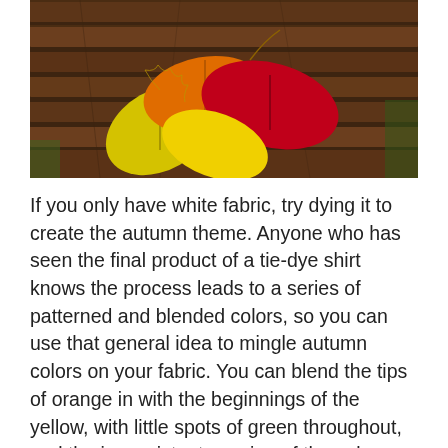[Figure (photo): Autumn maple leaves in red, orange, and yellow colors resting on dark wooden bench slats, with green grass visible in background.]
If you only have white fabric, try dying it to create the autumn theme. Anyone who has seen the final product of a tie-dye shirt knows the process leads to a series of patterned and blended colors, so you can use that general idea to mingle autumn colors on your fabric. You can blend the tips of orange in with the beginnings of the yellow, with little spots of green throughout, and the inconsistent spacing of the colors can really drive home the look of fall leaves.